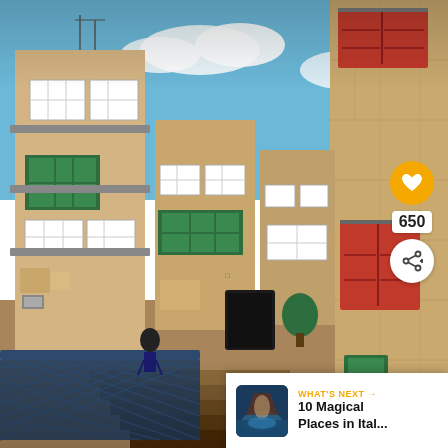[Figure (photo): Street-level view of historic limestone buildings in Valletta, Malta. Tall multi-storey buildings with traditional enclosed wooden balconies (some green, some white), red-shuttered windows on a large stone wall to the right, blue sky with clouds above, a decorative metal lattice bridge/railing in the foreground, stairs leading up, and a person standing near the base.]
650
WHAT'S NEXT → 10 Magical Places in Ital...